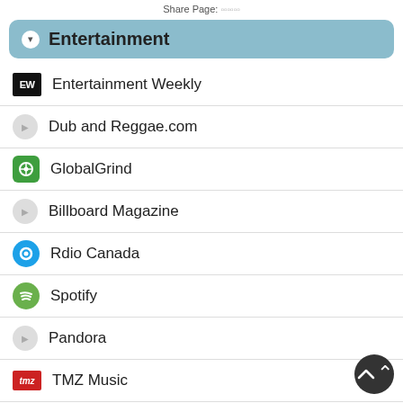Share Page:
Entertainment
Entertainment Weekly
Dub and Reggae.com
GlobalGrind
Billboard Magazine
Rdio Canada
Spotify
Pandora
TMZ Music
8tracks
TuneCore
Musicians Opposed To Bullying
Songza